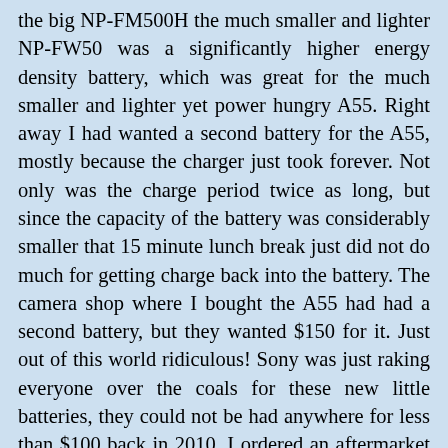the big NP-FM500H the much smaller and lighter NP-FW50 was a significantly higher energy density battery, which was great for the much smaller and lighter yet power hungry A55. Right away I had wanted a second battery for the A55, mostly because the charger just took forever. Not only was the charge period twice as long, but since the capacity of the battery was considerably smaller that 15 minute lunch break just did not do much for getting charge back into the battery. The camera shop where I bought the A55 had had a second battery, but they wanted $150 for it. Just out of this world ridiculous! Sony was just raking everyone over the coals for these new little batteries, they could not be had anywhere for less than $100 back in 2010. I ordered an aftermarket battery advertised as compatible with the Sony NP-FW50, but it did not work. The price for this aftermarket battery had been quite high itself at $30, so I was quite mad. When I contacted the retailer they agreed to send me a replacement at no cost, but it took absolutely forever to show up. Eventually I